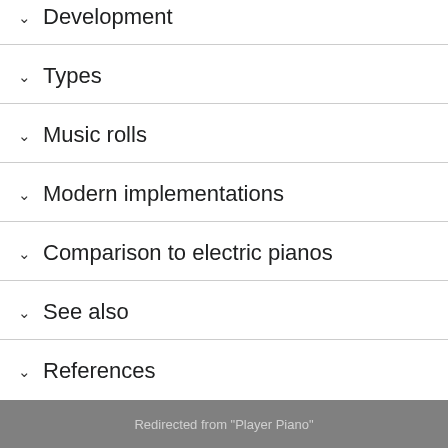Development
Types
Music rolls
Modern implementations
Comparison to electric pianos
See also
References
Redirected from "Player Piano"